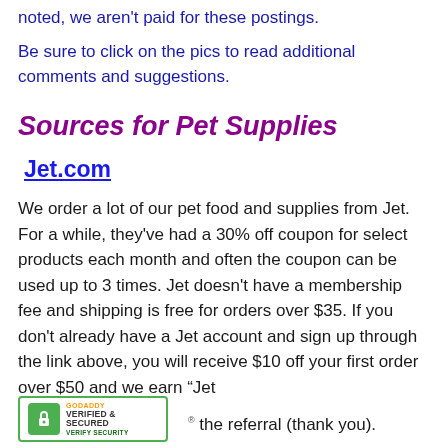noted, we aren't paid for these postings.
Be sure to click on the pics to read additional comments and suggestions.
Sources for Pet Supplies
Jet.com
We order a lot of our pet food and supplies from Jet.  For a while, they've had a 30% off coupon for select products each month and often the coupon can be used up to 3 times.  Jet doesn't have a membership fee and shipping is free for orders over $35.  If you don't already have a Jet account and sign up through the link above, you will receive $10 off your first order over $50 and we earn “Jet
[Figure (logo): GoDaddy Verified & Secured badge with green lock icon]
the referral (thank you).